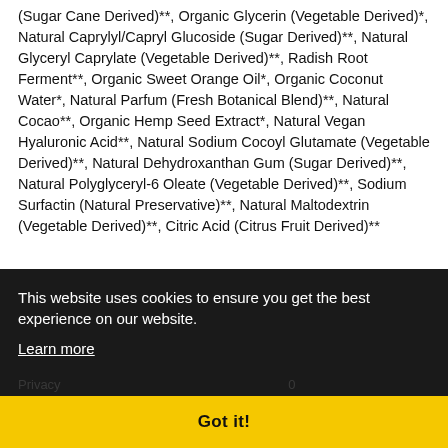(Sugar Cane Derived)**, Organic Glycerin (Vegetable Derived)*, Natural Caprylyl/Capryl Glucoside (Sugar Derived)**, Natural Glyceryl Caprylate (Vegetable Derived)**, Radish Root Ferment**, Organic Sweet Orange Oil*, Organic Coconut Water*, Natural Parfum (Fresh Botanical Blend)**, Natural Cocao**, Organic Hemp Seed Extract*, Natural Vegan Hyaluronic Acid**, Natural Sodium Cocoyl Glutamate (Vegetable Derived)**, Natural Dehydroxanthan Gum (Sugar Derived)**, Natural Polyglyceryl-6 Oleate (Vegetable Derived)**, Sodium Surfactin (Natural Preservative)**, Natural Maltodextrin (Vegetable Derived)**, Citric Acid (Citrus Fruit Derived)**
This website uses cookies to ensure you get the best experience on our website.
Learn more
Got it!